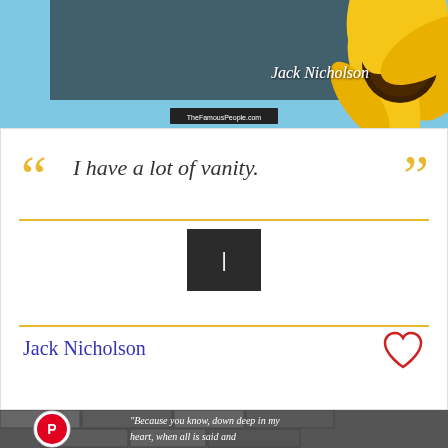[Figure (photo): Sunflower and blue sky background with Jack Nicholson name in cursive overlay and TheFamousPeople.com badge]
“I have a lot of vanity.”
[Figure (other): Dark navigation button with vertical bar/pipe character]
Jack Nicholson
[Figure (photo): Stone wall background with quote: Because you know, down deep in my heart, when all is said and done, I still live under the illusion that people think of me as an up-and-coming young actor. - Jack Nicholson, with Pinterest and Twitter share buttons, TheFamousPeople.com badge, and THEFAMOUSPEOPLE text overlay]